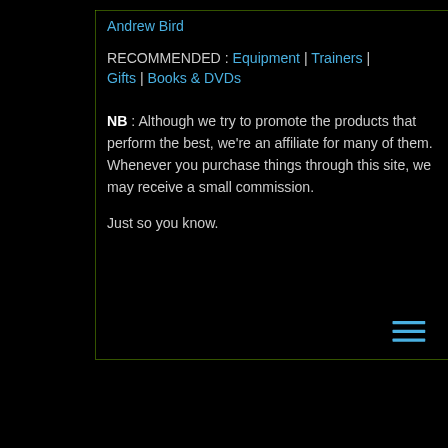Andrew Bird
RECOMMENDED : Equipment | Trainers | Gifts | Books & DVDs
NB : Although we try to promote the products that perform the best, we're an affiliate for many of them. Whenever you purchase things through this site, we may receive a small commission.

Just so you know.
[Figure (other): Hamburger menu icon (three horizontal lines) in blue]